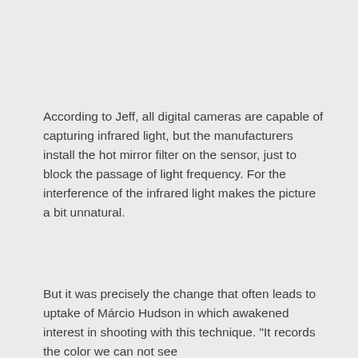According to Jeff, all digital cameras are capable of capturing infrared light, but the manufacturers install the hot mirror filter on the sensor, just to block the passage of light frequency. For the interference of the infrared light makes the picture a bit unnatural.
But it was precisely the change that often leads to uptake of Márcio Hudson in which awakened interest in shooting with this technique. "It records the color we can not see